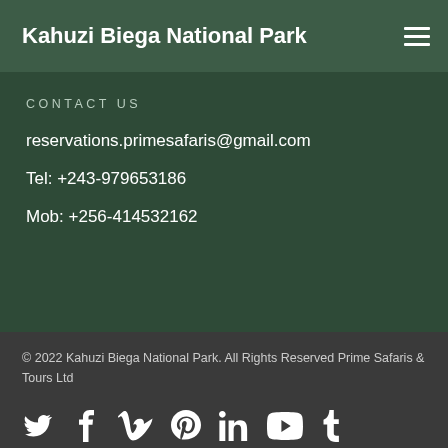Kahuzi Biega National Park
CONTACT US
reservations.primesafaris@gmail.com
Tel: +243-979653186
Mob: +256-414532162
© 2022 Kahuzi Biega National Park. All Rights Reserved Prime Safaris & Tours Ltd
[Figure (infographic): Row of social media icons: Twitter, Facebook, Vimeo, Pinterest, LinkedIn, YouTube, Tumblr, Google+. Also a green chat bubble button in the bottom right corner.]